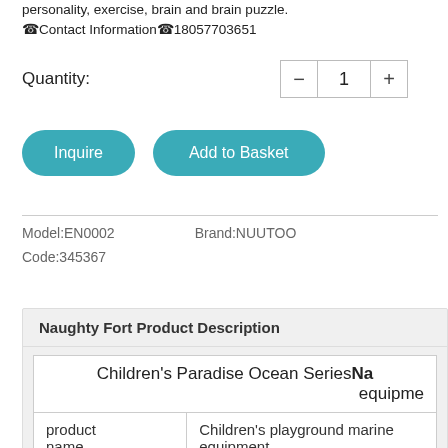personality, exercise, brain and brain puzzle. ☎Contact Information☎18057703651
Quantity:
[Figure (other): Quantity selector with minus button, value 1, and plus button]
[Figure (other): Two teal rounded buttons: Inquire and Add to Basket]
Model:EN0002   Brand:NUUTOO
Code:345367
Naughty Fort Product Description
| Children's Paradise Ocean Series Na... equipme... |  |
| --- | --- |
| product
name | Children's playground marine
equipment |